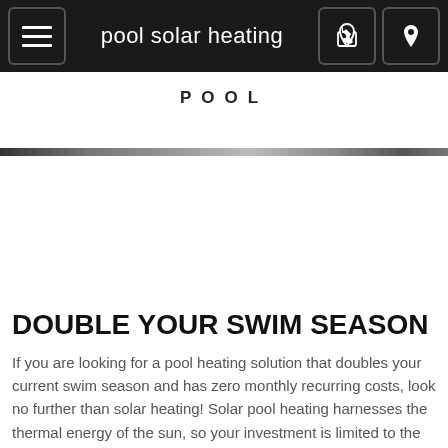pool solar heating
POOL
[Figure (photo): Narrow horizontal strip showing a partial image, likely a pool or solar panel installation]
DOUBLE YOUR SWIM SEASON
If you are looking for a pool heating solution that doubles your current swim season and has zero monthly recurring costs, look no further than solar heating! Solar pool heating harnesses the thermal energy of the sun, so your investment is limited to the installation of the solar collectors.